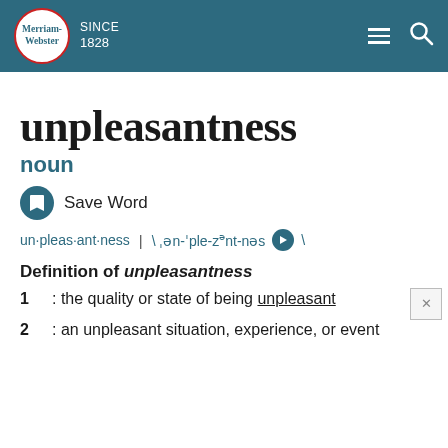Merriam-Webster SINCE 1828
unpleasantness
noun
Save Word
un·pleas·ant·ness | \ ˌən-'ple-zənt-nəs \
Definition of unpleasantness
1 : the quality or state of being unpleasant
2 : an unpleasant situation, experience, or event